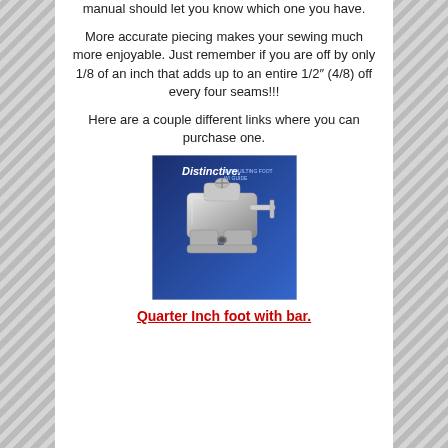manual should let you know which one you have.
More accurate piecing makes your sewing much more enjoyable. Just remember if you are off by only 1/8 of an inch that adds up to an entire 1/2″ (4/8) off every four seams!!!
Here are a couple different links where you can purchase one.
[Figure (photo): Product photo of a quarter inch sewing machine foot with bar, branded 'Distinctive', shown against a blue background]
Quarter Inch foot with bar.